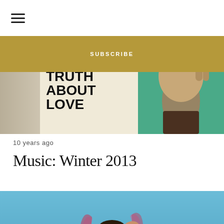SUBSCRIBE
[Figure (photo): Banner image showing 'The Truth About Love' text on a mural with a painted hand giving peace sign on a teal/green background, with a blurred taupe section on the left]
10 years ago
Music: Winter 2013
[Figure (photo): Photo of a young woman with her arms raised above her head against a blue sky, wearing a patterned long-sleeve top with red floral design]